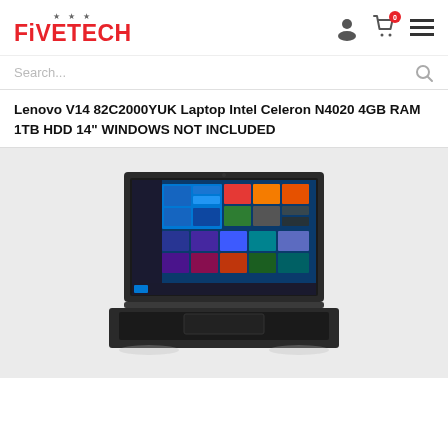FIVETECH
Lenovo V14 82C2000YUK Laptop Intel Celeron N4020 4GB RAM 1TB HDD 14" WINDOWS NOT INCLUDED
[Figure (photo): Lenovo V14 laptop open showing Windows 10 Start menu on screen, displayed on a light gray background]